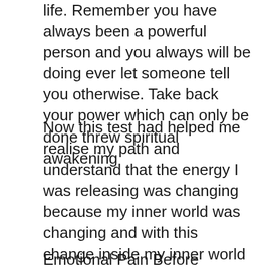life. Remember you have always been a powerful person and you always will be doing ever let someone tell you otherwise. Take back your power which can only be done threw spiritual awakening
Now this test had helped me realise my path and understand that the energy I was releasing was changing because my inner world was changing and with this change inside my inner world it changed my outer world. Here are some things I learned about my spiritual awakening that I hope help you in your spiritual awakening.
Emotional Pain Before Spiritual Awakening can be amazing and scary.Please understand